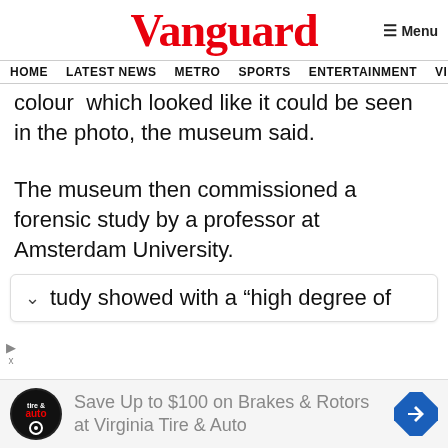Vanguard
HOME  LATEST NEWS  METRO  SPORTS  ENTERTAINMENT  VIDEOS
colour  which looked like it could be seen in the photo, the museum said.
The museum then commissioned a forensic study by a professor at Amsterdam University.
tudy showed with a “high degree of
Save Up to $100 on Brakes & Rotors at Virginia Tire & Auto